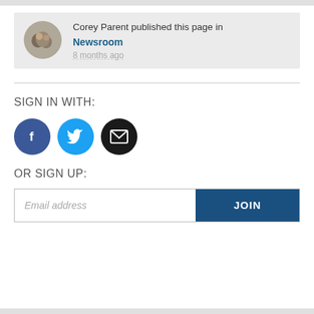Corey Parent published this page in Newsroom
8 months ago
SIGN IN WITH:
[Figure (infographic): Three social sign-in buttons: Facebook (dark blue circle with 'f'), Twitter (light blue circle with bird icon), Email (black circle with envelope icon)]
OR SIGN UP:
Email address
JOIN